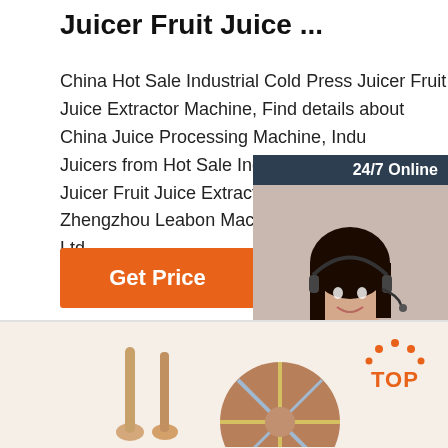Juicer Fruit Juice ...
China Hot Sale Industrial Cold Press Juicer Fruit Juice Extractor Machine, Find details about China Juice Processing Machine, Industrial Juicers from Hot Sale Industrial Cold Press Juicer Fruit Juice Extractor Machine - Zhengzhou Leabon Machinery Equipment Co., Ltd.
[Figure (other): 24/7 online chat widget with a woman wearing a headset, dark navy background, 'Click here for free chat!' text, and an orange QUOTATION button]
[Figure (other): Orange Get Price button]
[Figure (other): Orange TOP logo with dots above forming an arc, on the right side]
[Figure (photo): Product image showing wooden spoons and a circular fan or similar product on a cream background]